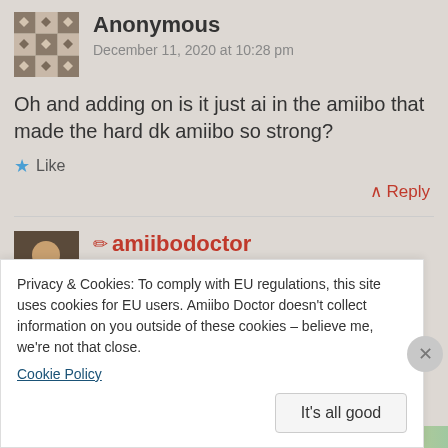[Figure (illustration): Decorative background with faded pattern]
[Figure (photo): Anonymous user avatar - grey geometric pattern]
Anonymous
December 11, 2020 at 10:28 pm
Oh and adding on is it just ai in the amiibo that made the hard dk amiibo so strong?
★ Like
^ Reply
[Figure (photo): amiibodoctor user avatar - photo of a person]
✏ amiibodoctor
December 11, 2020 at 11:14 pm
Privacy & Cookies: To comply with EU regulations, this site uses cookies for EU users. Amiibo Doctor doesn't collect information on you outside of these cookies – believe me, we're not that close.
Cookie Policy
It's all good